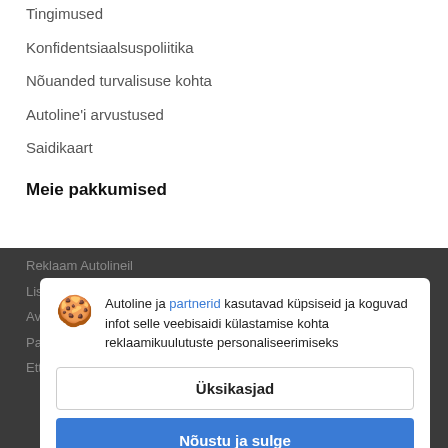Tingimused
Konfidentsiaalsuspoliitika
Nõuanded turvalisuse kohta
Autoline'i arvustused
Saidikaart
Meie pakkumised
Reklaam Autolineil
Autoline ja partnerid kasutavad küpsiseid ja koguvad infot selle veebisaidi külastamise kohta reklaamikuulutuste personaliseerimiseks
Üksikasjad
Nõustu ja sulge